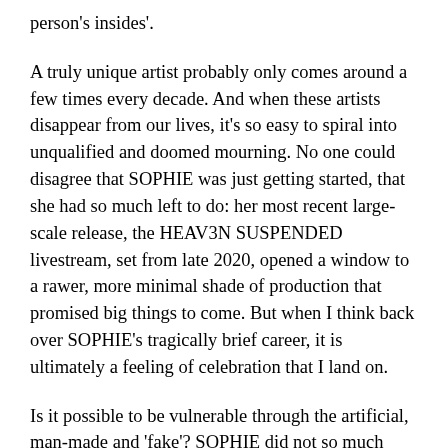person's insides'.
A truly unique artist probably only comes around a few times every decade. And when these artists disappear from our lives, it's so easy to spiral into unqualified and doomed mourning. No one could disagree that SOPHIE was just getting started, that she had so much left to do: her most recent large-scale release, the HEAV3N SUSPENDED livestream, set from late 2020, opened a window to a rawer, more minimal shade of production that promised big things to come. But when I think back over SOPHIE's tragically brief career, it is ultimately a feeling of celebration that I land on.
Is it possible to be vulnerable through the artificial, man-made and 'fake'? SOPHIE did not so much